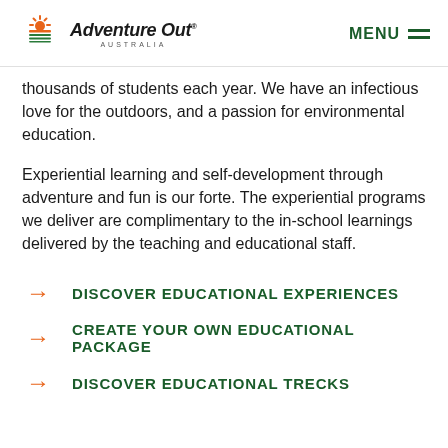Adventure Out AUSTRALIA | MENU
thousands of students each year. We have an infectious love for the outdoors, and a passion for environmental education.
Experiential learning and self-development through adventure and fun is our forte. The experiential programs we deliver are complimentary to the in-school learnings delivered by the teaching and educational staff.
DISCOVER EDUCATIONAL EXPERIENCES
CREATE YOUR OWN EDUCATIONAL PACKAGE
DISCOVER EDUCATIONAL TRECKS